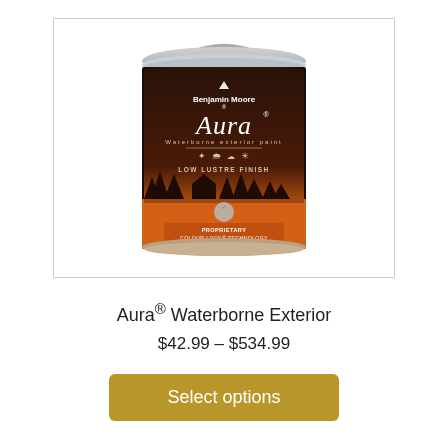[Figure (photo): Benjamin Moore Aura Waterborne Exterior paint can - gallon size with dark brown/maroon gradient label featuring 'Aura' branding, LOW LUSTRE FINISH text, silhouette of houses and trees in orange at the bottom, and 'PROPRIETARY COLOUR LOCK TECHNOLOGY' banner]
Aura® Waterborne Exterior
$42.99 – $534.99
Select options